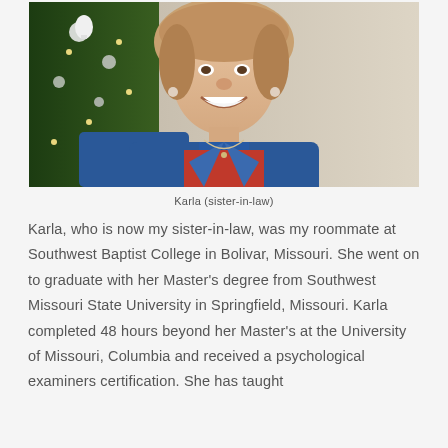[Figure (photo): Portrait photo of Karla, a woman smiling, wearing a blue denim vest over a red shirt, with a Christmas tree in the background.]
Karla (sister-in-law)
Karla,  who is now my sister-in-law, was my roommate at Southwest Baptist College in Bolivar, Missouri.  She went on to graduate with her Master's degree from Southwest Missouri State University in Springfield, Missouri.  Karla completed 48 hours beyond her Master's at the University of Missouri,  Columbia and received a psychological examiners certification.  She has taught